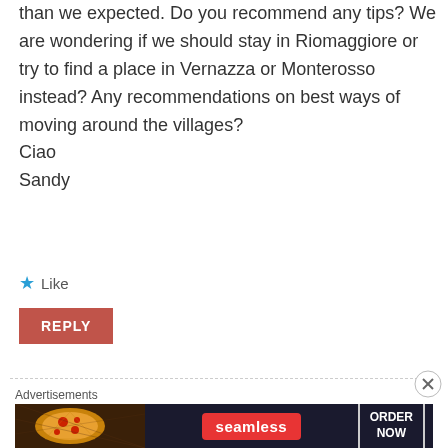than we expected. Do you recommend any tips? We are wondering if we should stay in Riomaggiore or try to find a place in Vernazza or Monterosso instead? Any recommendations on best ways of moving around the villages?
Ciao
Sandy
[Figure (other): Star/like icon followed by Like text link]
[Figure (other): Red REPLY button]
[Figure (other): Dashed horizontal divider line]
Advertisements
[Figure (other): Seamless food delivery advertisement banner with pizza image, seamless logo, and ORDER NOW button]